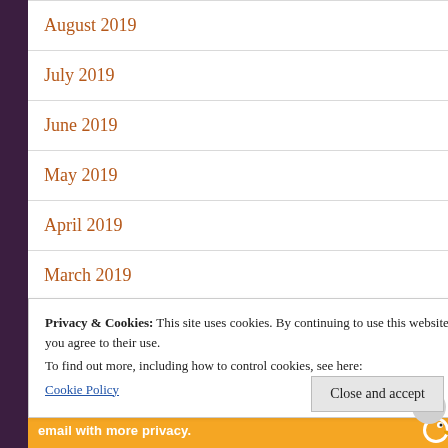August 2019
July 2019
June 2019
May 2019
April 2019
March 2019
Privacy & Cookies: This site uses cookies. By continuing to use this website, you agree to their use.
To find out more, including how to control cookies, see here:
Cookie Policy
Close and accept
email with more privacy.